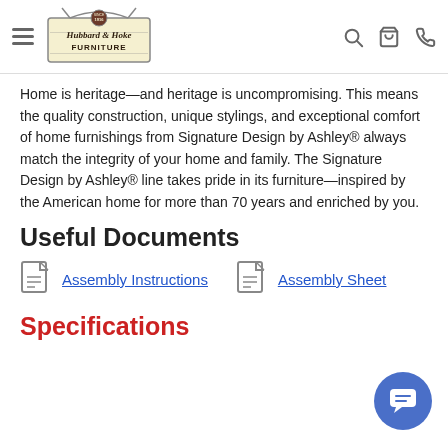Hubbard & Hoke Furniture — navigation bar with logo, hamburger menu, search, cart, and phone icons
Home is heritage—and heritage is uncompromising. This means the quality construction, unique stylings, and exceptional comfort of home furnishings from Signature Design by Ashley® always match the integrity of your home and family. The Signature Design by Ashley® line takes pride in its furniture—inspired by the American home for more than 70 years and enriched by you.
Useful Documents
Assembly Instructions
Assembly Sheet
Specifications